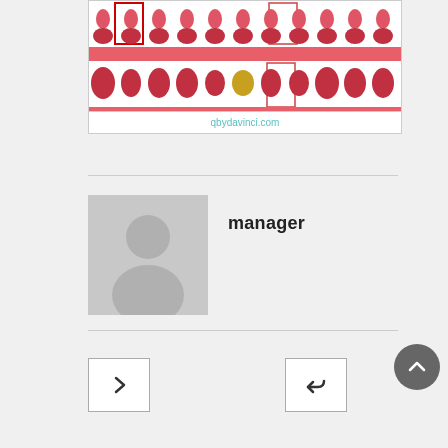[Figure (screenshot): Grid of dress/skirt product thumbnails with pink/red highlights and selection boxes, showing a fashion product carousel from qbydavinci.com]
qbydavinci.com
[Figure (photo): Default grey placeholder avatar/profile image showing silhouette of a person]
manager
[Figure (other): Navigation button with > (next) arrow]
[Figure (other): Navigation button with reply/back arrow]
[Figure (other): Scroll to top circular button with upward arrow]